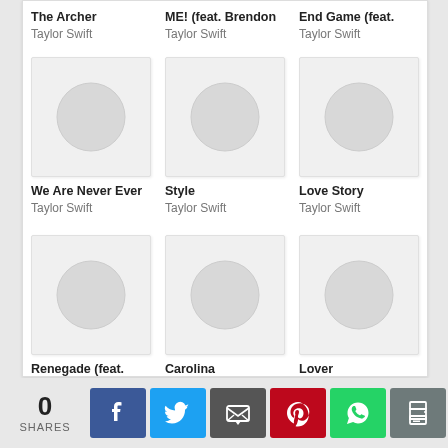The Archer
Taylor Swift
ME! (feat. Brendon
Taylor Swift
End Game (feat.
Taylor Swift
[Figure (illustration): Album art placeholder - grey square with circle]
[Figure (illustration): Album art placeholder - grey square with circle]
[Figure (illustration): Album art placeholder - grey square with circle]
We Are Never Ever
Taylor Swift
Style
Taylor Swift
Love Story
Taylor Swift
[Figure (illustration): Album art placeholder - grey square with circle]
[Figure (illustration): Album art placeholder - grey square with circle]
[Figure (illustration): Album art placeholder - grey square with circle]
Renegade (feat.
Big Red Machine &
Carolina
Taylor Swift
Lover
Taylor Swift
0
SHARES